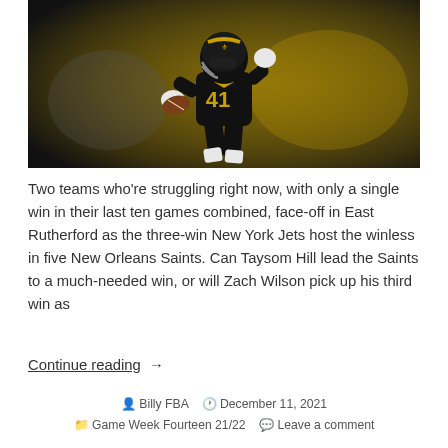[Figure (photo): A New Orleans Saints football player wearing jersey number 41, running with the ball in a black uniform on the field.]
Two teams who're struggling right now, with only a single win in their last ten games combined, face-off in East Rutherford as the three-win New York Jets host the winless in five New Orleans Saints. Can Taysom Hill lead the Saints to a much-needed win, or will Zach Wilson pick up his third win as
Continue reading →
Billy FBA   December 11, 2021   Game Week Fourteen 21/22   Leave a comment